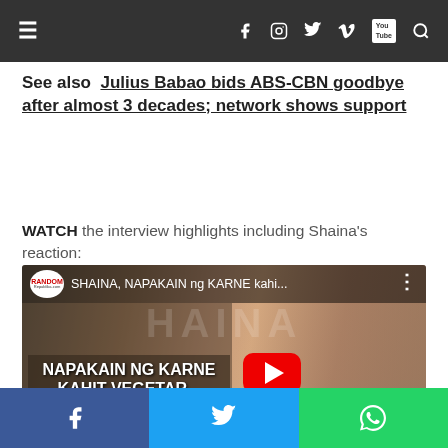Navigation bar with hamburger menu, social icons (Facebook, Instagram, Twitter, Vimeo, YouTube, Search)
See also  Julius Babao bids ABS-CBN goodbye after almost 3 decades; network shows support
WATCH the interview highlights including Shaina's reaction:
[Figure (screenshot): YouTube video thumbnail showing Shaina with text 'NAPAKAIN NG KARNE KAHIT VEGETAR... para sa eksen...' and Random Republika logo, with red YouTube play button overlay]
Social share buttons: Facebook, Twitter, WhatsApp